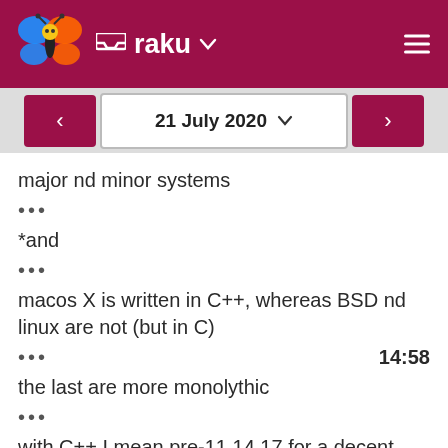raku
21 July 2020
major nd minor systems
•••
*and
•••
macos X is written in C++, whereas BSD nd linux are not (but in C)
•••  14:58
the last are more monolythic
•••
with C++ I mean pre-11,14,17 for a decent C++ compiler such as c++ on BSDs
•••  15:00
or with "gcc -std=c89" for C++ on the command line